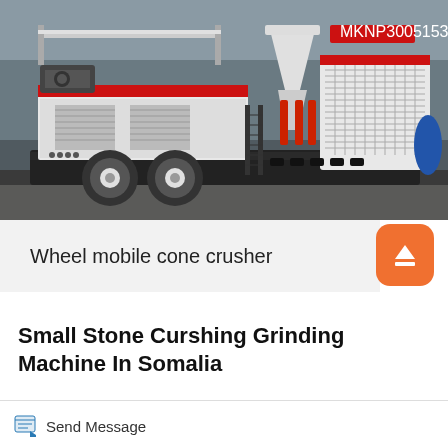[Figure (photo): A wheel mobile cone crusher machine — large industrial mobile crushing equipment on a wheeled trailer, with white and black body, red accents, cone crusher unit on the right, access ladder, and control components, photographed in an industrial yard.]
Wheel mobile cone crusher
Small Stone Curshing Grinding Machine In Somalia
Send Message
Free Consultation